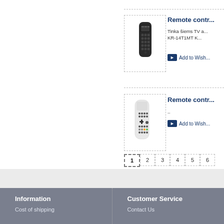[Figure (photo): Dark black remote control for TV]
Remote contr...
Tinka šiems TV a... KR-14T1MT K...
Add to Wish...
[Figure (photo): White remote control]
Remote contr...
..
Add to Wish...
1  2  3  4  5  6
Information
Customer Service
Cost of shipping
Contact Us